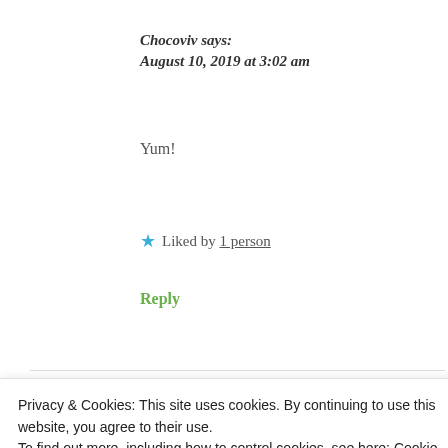Chocoviv says:
August 10, 2019 at 3:02 am
Yum!
★ Liked by 1 person
Reply
Sandee says:
Privacy & Cookies: This site uses cookies. By continuing to use this website, you agree to their use.
To find out more, including how to control cookies, see here: Cookie Policy
Close and accept